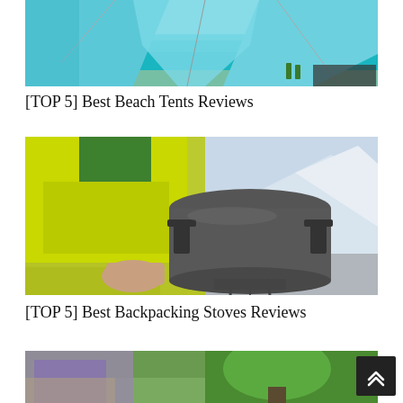[Figure (photo): Blue beach tent on a tropical beach with turquoise water in the background]
[TOP 5] Best Beach Tents Reviews
[Figure (photo): Person in yellow/green jacket using a backpacking stove with a titanium pot outdoors in a snowy mountain setting]
[TOP 5] Best Backpacking Stoves Reviews
[Figure (photo): Partial view of a person near camping gear, bottom of page]